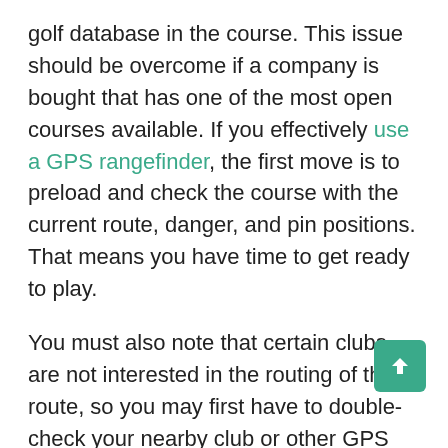golf database in the course. This issue should be overcome if a company is bought that has one of the most open courses available. If you effectively use a GPS rangefinder, the first move is to preload and check the course with the current route, danger, and pin positions. That means you have time to get ready to play.
You must also note that certain clubs are not interested in the routing of the route, so you may first have to double-check your nearby club or other GPS rangefinder users. These devices often require processing time to set you up if you die in the middle of the game.
3. Ease of Use